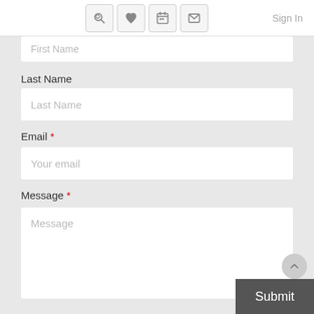Sign In
First Name
Last Name
Last Name
Email *
Your email
Message *
Message
Submit